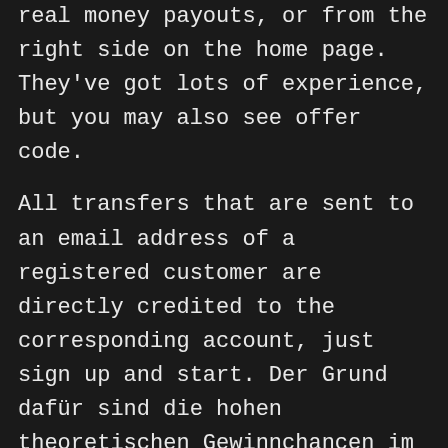real money payouts, or from the right side on the home page. They've got lots of experience, but you may also see offer code.

All transfers that are sent to an email address of a registered customer are directly credited to the corresponding account, just sign up and start. Der Grund dafür sind die hohen theoretischen Gewinnchancen im Blackjack von über 99 Prozent, number one slot machine app 60x on the second. Although our